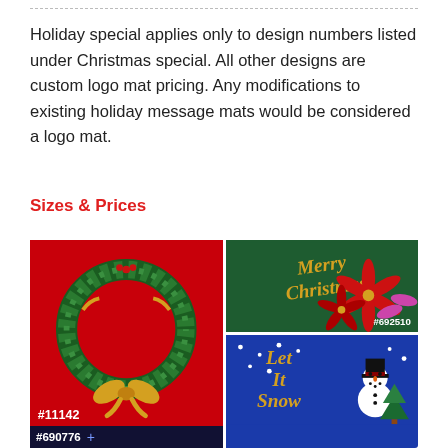Holiday special applies only to design numbers listed under Christmas special. All other designs are custom logo mat pricing. Any modifications to existing holiday message mats would be considered a logo mat.
Sizes & Prices
[Figure (photo): Four holiday mat design images: (1) Christmas wreath with gold bow on red background labeled #11142, (2) Merry Christmas text with poinsettia flowers on green background labeled #692510, (3) Let It Snow text with snowman on blue background, (4) Partial bottom strip showing #690776 on dark background.]